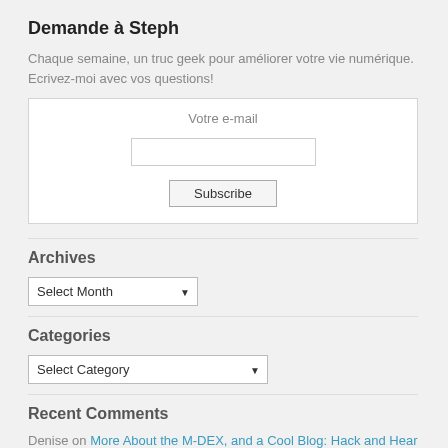Demande à Steph
Chaque semaine, un truc geek pour améliorer votre vie numérique. Ecrivez-moi avec vos questions!
[Figure (other): Email subscription widget with label 'Votre e-mail', an input field, and a Subscribe button]
Archives
[Figure (other): Dropdown select box labeled 'Select Month']
Categories
[Figure (other): Dropdown select box labeled 'Select Category']
Recent Comments
Denise on More About the M-DEX, and a Cool Blog: Hack and Hear
Ton Ziilstra on 22 Years Ago